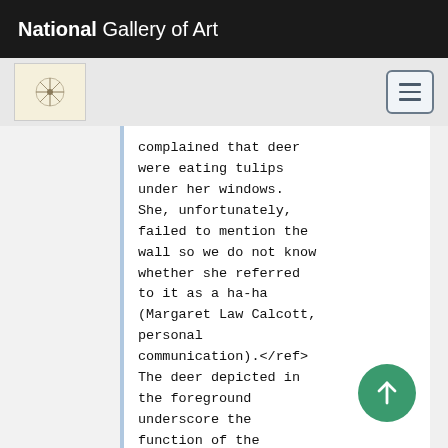National Gallery of Art
complained that deer were eating tulips under her windows. She, unfortunately, failed to mention the wall so we do not know whether she referred to it as a ha-ha (Margaret Law Calcott, personal communication).</ref> The deer depicted in the foreground underscore the function of the feature: to keep a pasture or a [[park]]